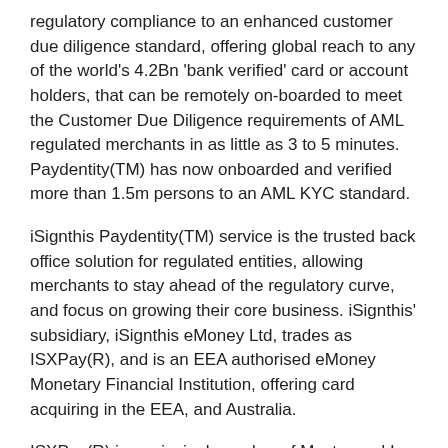regulatory compliance to an enhanced customer due diligence standard, offering global reach to any of the world's 4.2Bn 'bank verified' card or account holders, that can be remotely on-boarded to meet the Customer Due Diligence requirements of AML regulated merchants in as little as 3 to 5 minutes. Paydentity(TM) has now onboarded and verified more than 1.5m persons to an AML KYC standard.
iSignthis Paydentity(TM) service is the trusted back office solution for regulated entities, allowing merchants to stay ahead of the regulatory curve, and focus on growing their core business. iSignthis' subsidiary, iSignthis eMoney Ltd, trades as ISXPay(R), and is an EEA authorised eMoney Monetary Financial Institution, offering card acquiring in the EEA, and Australia.
ISXPay(R) is a principal member of Mastercard Inc, Diners, Discover, (China) Union Pay International and JCB International, an American Express aggregator, and provides merchants with access to payments via alternative methods including SEPA, Poli Payments, Sofort, PRZ24 and others.